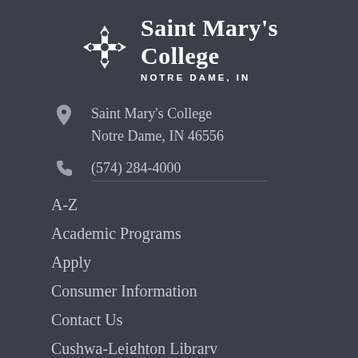[Figure (logo): Saint Mary's College logo with cross/anchor symbol and text 'Saint Mary's College NOTRE DAME, IN']
Saint Mary's College
Notre Dame, IN 46556
(574) 284-4000
A-Z
Academic Programs
Apply
Consumer Information
Contact Us
Cushwa-Leighton Library